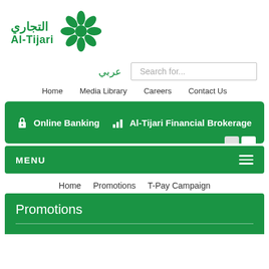[Figure (logo): Al-Tijari bank logo with Arabic text التجاري and English text Al-Tijari, with a green eight-pointed star/flower icon]
عربي
Search for...
Home   Media Library   Careers   Contact Us
🔒 Online Banking   📊 Al-Tijari Financial Brokerage
MENU
Home   Promotions   T-Pay Campaign
Promotions